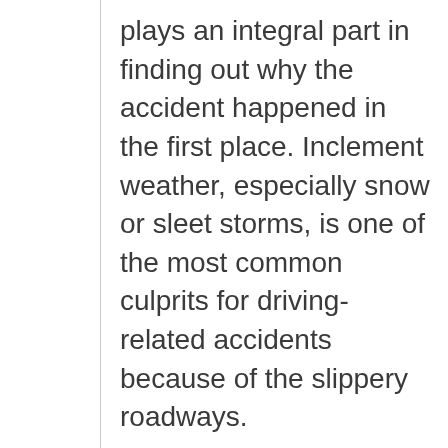plays an integral part in finding out why the accident happened in the first place. Inclement weather, especially snow or sleet storms, is one of the most common culprits for driving-related accidents because of the slippery roadways.
Poor road conditions such as faulty construction, unleveled lanes, confusing street signages, and the lack of hazard warnings can bring other parties at fault. In this case, the parties involved are also entitled to take legal action against the agencies or entities responsible for